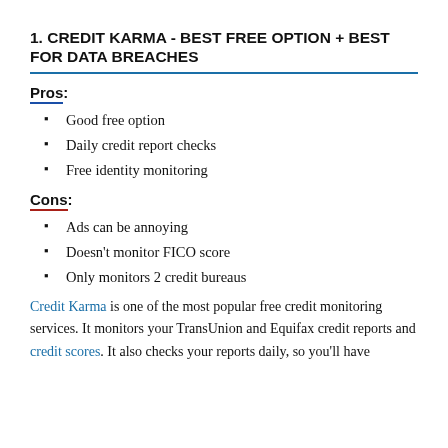1. CREDIT KARMA - BEST FREE OPTION + BEST FOR DATA BREACHES
Pros:
Good free option
Daily credit report checks
Free identity monitoring
Cons:
Ads can be annoying
Doesn't monitor FICO score
Only monitors 2 credit bureaus
Credit Karma is one of the most popular free credit monitoring services. It monitors your TransUnion and Equifax credit reports and credit scores. It also checks your reports daily, so you'll have